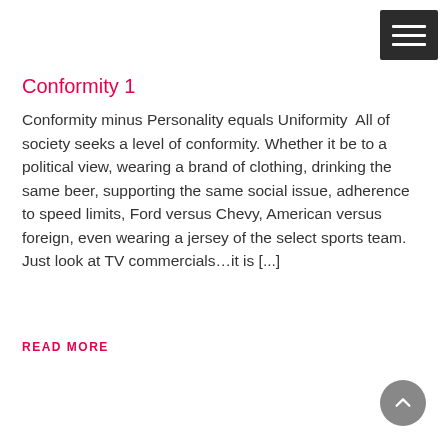≡ (menu button)
Conformity 1
Conformity minus Personality equals Uniformity  All of society seeks a level of conformity. Whether it be to a political view, wearing a brand of clothing, drinking the same beer, supporting the same social issue, adherence to speed limits, Ford versus Chevy, American versus foreign, even wearing a jersey of the select sports team.  Just look at TV commercials…it is [...]
READ MORE